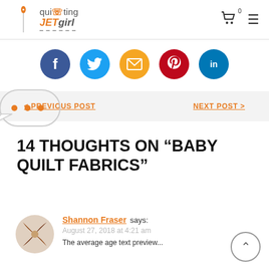quilting JET girl — cart icon, hamburger menu
[Figure (infographic): Social share buttons row: Facebook (dark blue), Twitter (light blue), Email (orange), Pinterest (red), LinkedIn (teal)]
< PREVIOUS POST   NEXT POST >
14 THOUGHTS ON “BABY QUILT FABRICS”
Shannon Fraser says:
August 27, 2018 at 4:21 am
The average age text preview...